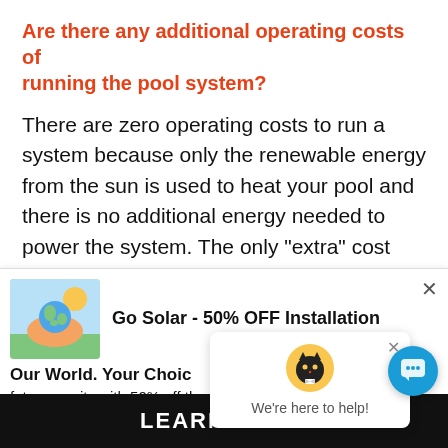Are there any additional operating costs of running the pool system?
There are zero operating costs to run a system because only the renewable energy from the sun is used to heat your pool and there is no additional energy needed to power the system. The only “extra” cost you’d be paying is the added energy of running a
[Figure (screenshot): Advertisement overlay: Go Solar - 50% OFF Installation with globe image and Our World. Your Choice tagline]
[Figure (screenshot): Chat popup with cat mascot icon saying We're here to help! and a blue chat button in the bottom right corner]
LEARN MORE